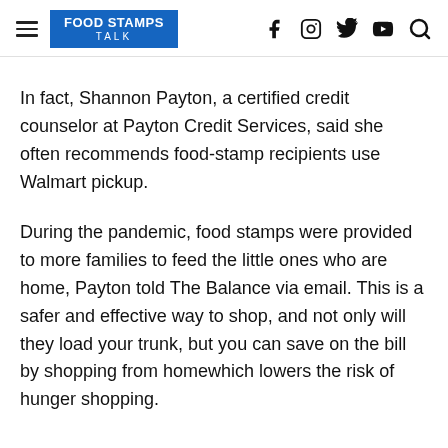FOOD STAMPS TALK
In fact, Shannon Payton, a certified credit counselor at Payton Credit Services, said she often recommends food-stamp recipients use Walmart pickup.
During the pandemic, food stamps were provided to more families to feed the little ones who are home, Payton told The Balance via email. This is a safer and effective way to shop, and not only will they load your trunk, but you can save on the bill by shopping from homewhich lowers the risk of hunger shopping.